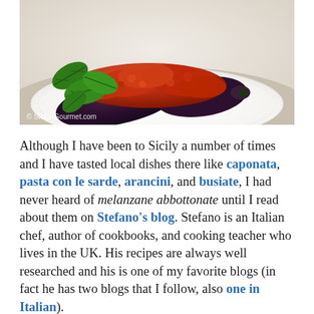[Figure (photo): A white plate with eggplant (melanzane abbottonate) topped with chunky tomato sauce, garnished with fresh basil leaves. Watermark reads '© StefanGourmet.com' in bottom-left corner.]
Although I have been to Sicily a number of times and I have tasted local dishes there like caponata, pasta con le sarde, arancini, and busiate, I had never heard of melanzane abbottonate until I read about them on Stefano's blog. Stefano is an Italian chef, author of cookbooks, and cooking teacher who lives in the UK. His recipes are always well researched and his is one of my favorite blogs (in fact he has two blogs that I follow, also one in Italian).